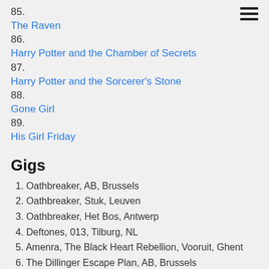85. The Raven
86. Harry Potter and the Chamber of Secrets
87. Harry Potter and the Sorcerer's Stone
88. Gone Girl
89. His Girl Friday
Gigs
1. Oathbreaker, AB, Brussels
2. Oathbreaker, Stuk, Leuven
3. Oathbreaker, Het Bos, Antwerp
4. Deftones, 013, Tilburg, NL
5. Amenra, The Black Heart Rebellion, Vooruit, Ghent
6. The Dillinger Escape Plan, AB, Brussels
7. Ieperfest, Ypres
No Turning Back
Slapshot
Sheer Terror
Napalm Death